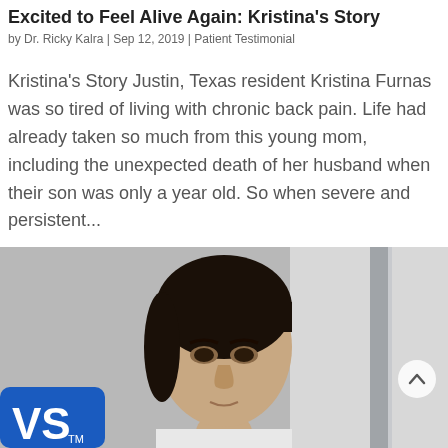Excited to Feel Alive Again: Kristina's Story
by Dr. Ricky Kalra | Sep 12, 2019 | Patient Testimonial
Kristina's Story Justin, Texas resident Kristina Furnas was so tired of living with chronic back pain. Life had already taken so much from this young mom, including the unexpected death of her husband when their son was only a year old. So when severe and persistent...
[Figure (photo): A young man with dark hair photographed in front of a medical setting; a blue logo sign with 'VS' and TM mark is visible on the lower left.]